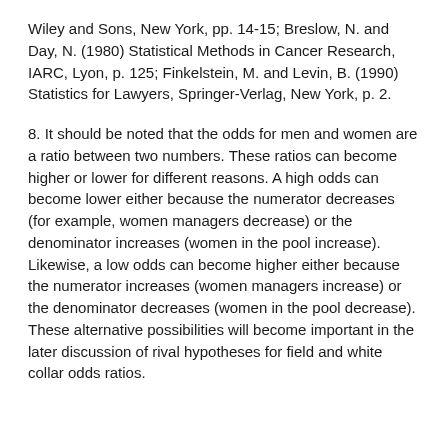Wiley and Sons, New York, pp. 14-15; Breslow, N. and Day, N. (1980) Statistical Methods in Cancer Research, IARC, Lyon, p. 125; Finkelstein, M. and Levin, B. (1990) Statistics for Lawyers, Springer-Verlag, New York, p. 2.
8. It should be noted that the odds for men and women are a ratio between two numbers. These ratios can become higher or lower for different reasons. A high odds can become lower either because the numerator decreases (for example, women managers decrease) or the denominator increases (women in the pool increase). Likewise, a low odds can become higher either because the numerator increases (women managers increase) or the denominator decreases (women in the pool decrease). These alternative possibilities will become important in the later discussion of rival hypotheses for field and white collar odds ratios.